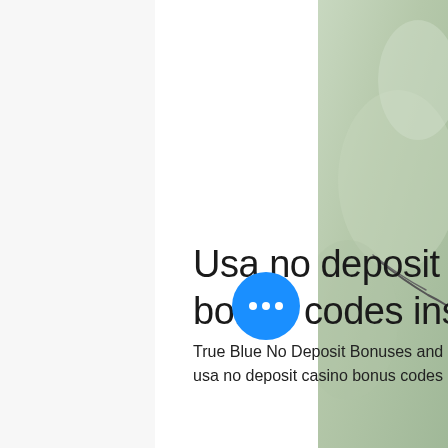[Figure (photo): Background layout with left light gray panel, center white content area, and right side showing a partial nature/outdoor photo with green blurred background and what appears to be a wire or thin object.]
Usa no deposit casino bonus codes instant pl
True Blue No Deposit Bonuses and Co... usa no deposit casino bonus codes instant